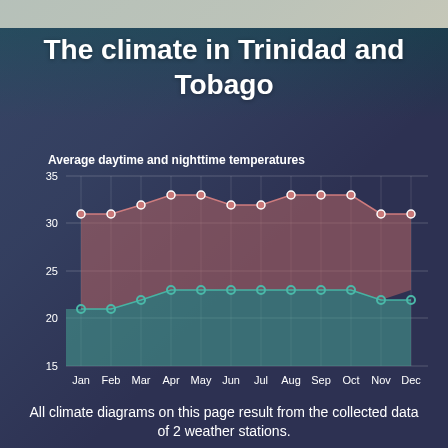The climate in Trinidad and Tobago
[Figure (area-chart): Average daytime and nighttime temperatures]
All climate diagrams on this page result from the collected data of 2 weather stations.